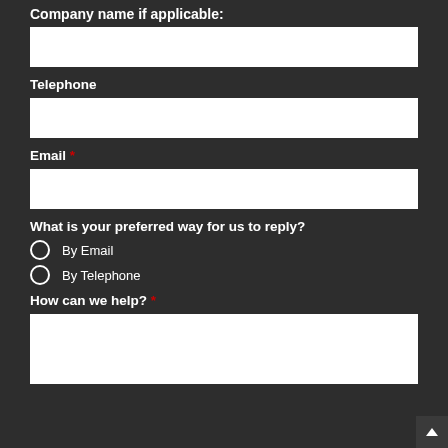Company name if applicable:
[text input field]
Telephone
[text input field]
Email *
[text input field]
What is your preferred way for us to reply?
By Email
By Telephone
How can we help? *
[textarea field]